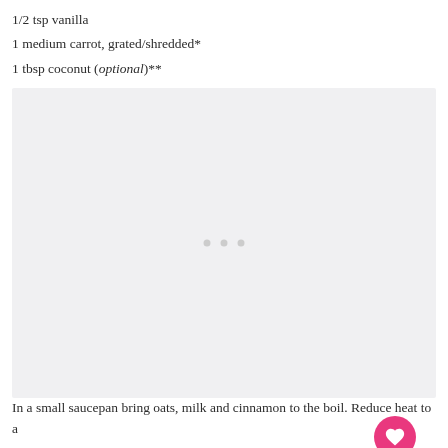1/2 tsp vanilla
1 medium carrot, grated/shredded*
1 tbsp coconut (optional)**
2 tbsp pecans/walnuts
[Figure (photo): Large light gray placeholder image area with three small gray dots in the center, representing a recipe food photo. Heart and share buttons are overlaid on the bottom right corner.]
In a small saucepan bring oats, milk and cinnamon to the boil. Reduce heat to a